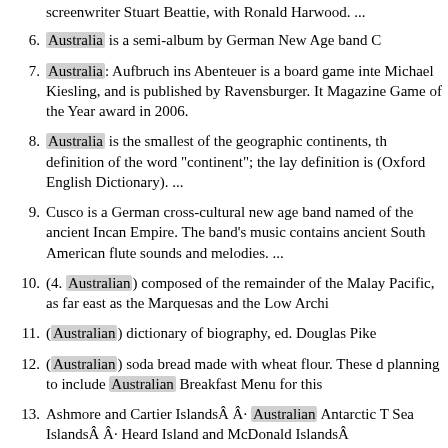screenwriter Stuart Beattie, with Ronald Harwood. ...
6. Australia is a semi-album by German New Age band C
7. Australia: Aufbruch ins Abenteuer is a board game inte Michael Kiesling, and is published by Ravensburger. It Magazine Game of the Year award in 2006.
8. Australia is the smallest of the geographic continents, th definition of the word "continent"; the lay definition is (Oxford English Dictionary). ...
9. Cusco is a German cross-cultural new age band named of the ancient Incan Empire. The band's music contains ancient South American flute sounds and melodies. ...
10. (4. Australian) composed of the remainder of the Malay Pacific, as far east as the Marquesas and the Low Archi
11. (Australian) dictionary of biography, ed. Douglas Pike
12. (Australian) soda bread made with wheat flour. These d planning to include Australian Breakfast Menu for this
13. Ashmore and Cartier Islands  · Australian Antarctic T Sea Islands  · Heard Island and McDonald Islands